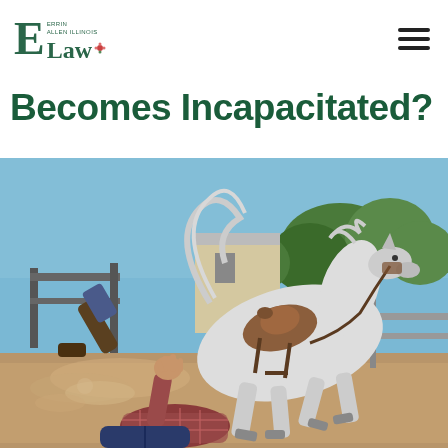E Law (logo with tagline)
Becomes Incapacitated?
[Figure (photo): A rodeo scene showing a white horse bucking and a cowboy being thrown off, with a saddle visible. A person in a plaid shirt is falling to the ground with hand raised. Dusty arena background with fencing and trees.]